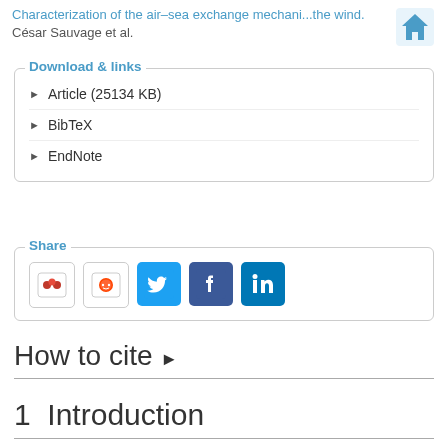Characterization of the air–sea exchange mechani...the wind.
César Sauvage et al.
Download & links
Article (25134 KB)
BibTeX
EndNote
Share
[Figure (infographic): Social sharing buttons: Mendeley, Reddit, Twitter, Facebook, LinkedIn]
How to cite ▶
1  Introduction